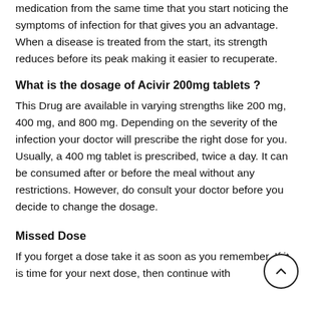medication from the same time that you start noticing the symptoms of infection for that gives you an advantage. When a disease is treated from the start, its strength reduces before its peak making it easier to recuperate.
What is the dosage of Acivir 200mg tablets ?
This Drug are available in varying strengths like 200 mg, 400 mg, and 800 mg. Depending on the severity of the infection your doctor will prescribe the right dose for you. Usually, a 400 mg tablet is prescribed, twice a day. It can be consumed after or before the meal without any restrictions. However, do consult your doctor before you decide to change the dosage.
Missed Dose
If you forget a dose take it as soon as you remember. If it is time for your next dose, then continue with